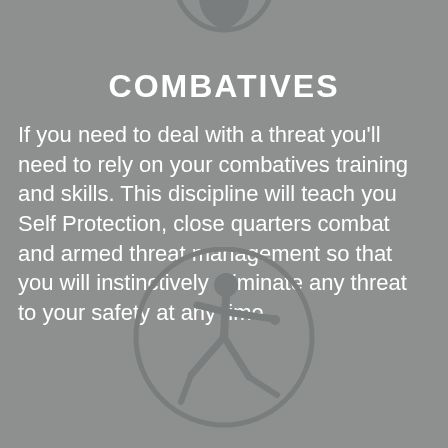[Figure (illustration): Partial circular icon at top center, showing part of a shield or badge shape in dark grey on grey background]
COMBATIVES
If you need to deal with a threat you'll need to rely on your combatives training and skills. This discipline will teach you Self Protection, close quarters combat and armed threat management so that you will instinctively eliminate any threat to your safety at any time.
[Figure (illustration): Circular icon showing a martial arts figure in a fighting stance, dark grey silhouette on grey background with a circle border]